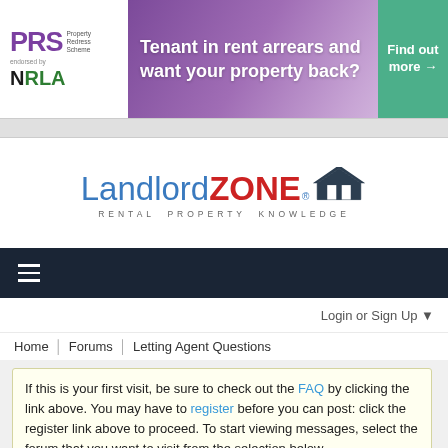[Figure (screenshot): PRS Property Redress Scheme endorsed by NRLA banner advertisement with purple gradient background, text 'Tenant in rent arrears and want your property back?' and green 'Find out more' button]
[Figure (logo): LandlordZONE logo with house/roof icon. 'Landlord' in blue, 'ZONE' in red bold, tagline 'RENTAL PROPERTY KNOWLEDGE' in grey spaced caps]
[Figure (screenshot): Dark navy hamburger menu navigation bar]
Login or Sign Up ▼
Home  Forums  Letting Agent Questions
If this is your first visit, be sure to check out the FAQ by clicking the link above. You may have to register before you can post: click the register link above to proceed. To start viewing messages, select the forum that you want to visit from the selection below.